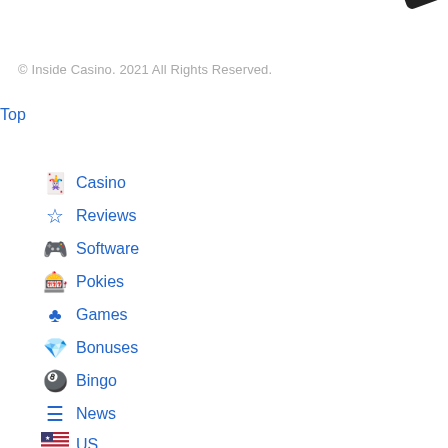[Figure (photo): Partial image of what appears to be a camera or gaming device in top right corner]
© Inside Casino. 2021 All Rights Reserved.
Top
Casino
Reviews
Software
Pokies
Games
Bonuses
Bingo
News
US
CA
UK
BR